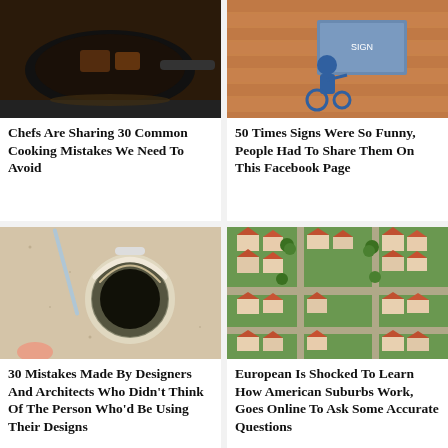[Figure (photo): Overhead view of food cooking in a dark pan on an induction stove]
Chefs Are Sharing 30 Common Cooking Mistakes We Need To Avoid
[Figure (photo): Person in wheelchair viewed from behind looking at a sign on a wall]
50 Times Signs Were So Funny, People Had To Share Them On This Facebook Page
[Figure (photo): Close-up of a chrome faucet drain hole in a kitchen or bathroom sink countertop]
30 Mistakes Made By Designers And Architects Who Didn’t Think Of The Person Who’d Be Using Their Designs
[Figure (photo): Aerial view of American suburban neighborhood with red-roofed houses and tree-lined streets]
European Is Shocked To Learn How American Suburbs Work, Goes Online To Ask Some Accurate Questions